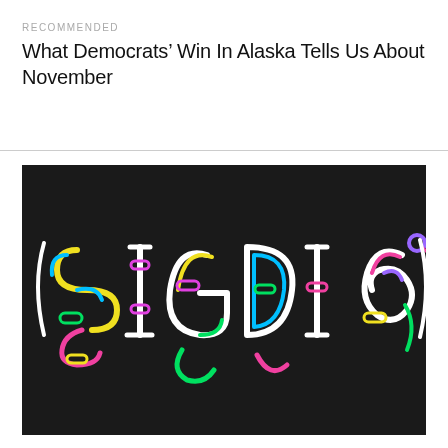RECOMMENDED
What Democrats’ Win In Alaska Tells Us About November
[Figure (illustration): Colorful neon-style typographic logo on a black background spelling out 'SIGDIG' with multicolored outlined letters in yellow, blue, green, pink, white, and purple on a dark background.]